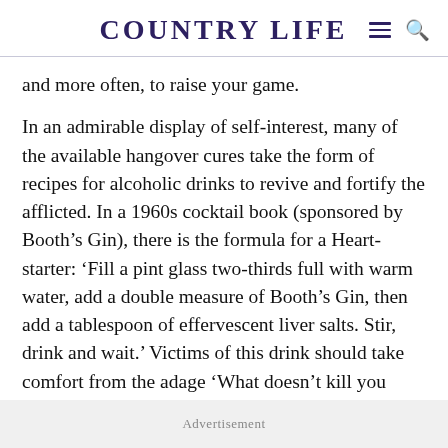COUNTRY LIFE
and more often, to raise your game.
In an admirable display of self-interest, many of the available hangover cures take the form of recipes for alcoholic drinks to revive and fortify the afflicted. In a 1960s cocktail book (sponsored by Booth’s Gin), there is the formula for a Heart-starter: ‘Fill a pint glass two-thirds full with warm water, add a double measure of Booth’s Gin, then add a tablespoon of effervescent liver salts. Stir, drink and wait.’ Victims of this drink should take comfort from the adage ‘What doesn’t kill you makes you stronger’.
Advertisement